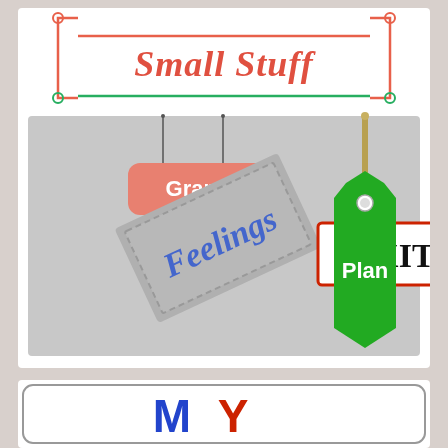[Figure (illustration): Top section showing decorative sign frame with 'Small Stuff' text in salmon/red italic script, with coral decorative bracket borders. Below is a grey rectangular illustration containing: a salmon/pink rounded rectangle sign with white bold text 'Grand' hanging from strings; a grey serrated-edge stamp with blue italic text 'Feelings' rotated; a white rectangle with red border and black serif text 'EXIT'; a green price tag shape with white text 'Plan' hanging from a brown/gold string.]
[Figure (illustration): Bottom card section showing partial text 'MY' in large stylized letters — 'M' in blue dotted/textured style and 'Y' in red, within a rounded rectangle border frame.]